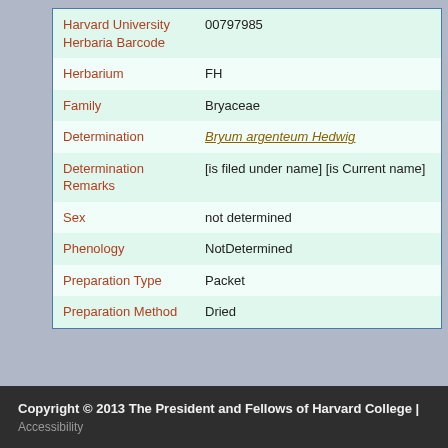| Field | Value |
| --- | --- |
| Harvard University Herbaria Barcode | 00797985 |
| Herbarium | FH |
| Family | Bryaceae |
| Determination | Bryum argenteum Hedwig |
| Determination Remarks | [is filed under name] [is Current name] |
| Sex | not determined |
| Phenology | NotDetermined |
| Preparation Type | Packet |
| Preparation Method | Dried |
Copyright © 2013 The President and Fellows of Harvard College | Accessibility